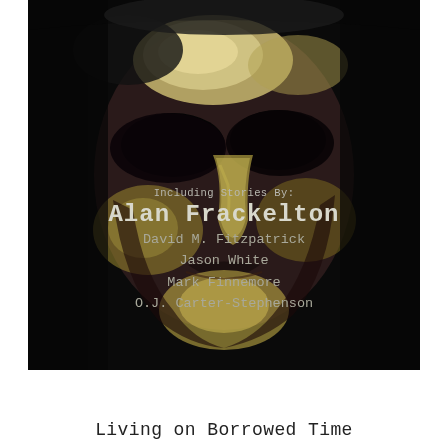[Figure (illustration): Dark painted illustration of a close-up human face with dramatic yellow and shadow tones on a black background, eyes closed or shadowed, with a mysterious/unsettling expression]
Including Stories By:
Alan Frackelton
David M. Fitzpatrick
Jason White
Mark Finnemore
O.J. Carter-Stephenson
Living on Borrowed Time